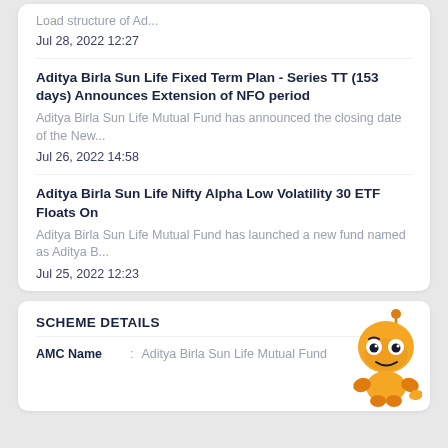Load structure of Ad...
Jul 28, 2022 12:27
Aditya Birla Sun Life Fixed Term Plan - Series TT (153 days) Announces Extension of NFO period
Aditya Birla Sun Life Mutual Fund has announced the closing date of the New...
Jul 26, 2022 14:58
Aditya Birla Sun Life Nifty Alpha Low Volatility 30 ETF Floats On
Aditya Birla Sun Life Mutual Fund has launched a new fund named as Aditya B...
Jul 25, 2022 12:23
SCHEME DETAILS
AMC Name : Aditya Birla Sun Life Mutual Fund